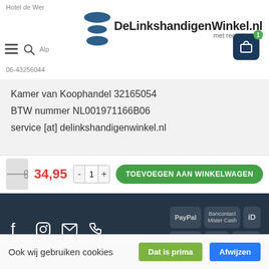DeLinkshandigenWinkel.nl — met recht handig
Kamer van Koophandel 32165054
BTW nummer NL001971166B06
service [at] delinkshandigenwinkel.nl
[Figure (screenshot): Footer with social media icons (Facebook, Instagram, email, phone) and payment method logos (PayPal, Bancontact/Mister Cash, iD, Belfius, KBC, mollie) on dark navy background]
[Figure (screenshot): Bottom add-to-cart bar with scissors product thumbnail, price 34,95 in red, quantity controls (-/1/+), and green TOEVOEGEN AAN WINKELWAGEN button]
Ook wij gebruiken cookies
Dat is prima
Afwijzen